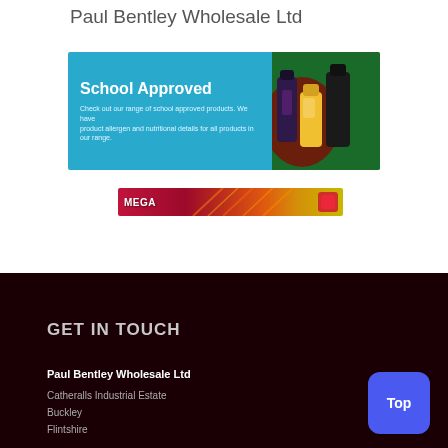Paul Bentley Wholesale Ltd
[Figure (infographic): School Approved banner advertisement with cyan/blue background showing drink bottles. Text reads: 'School Approved — Check out our range of school approved products. We have product allergen and nutritional details for all products in our range.']
[Figure (infographic): Partially visible secondary banner ad with dark red to orange gradient background, showing text 'MEGA' and decorative elements.]
GET IN TOUCH
Paul Bentley Wholesale Ltd
Catheralls Industrial Estate
Buckley
Flintshire